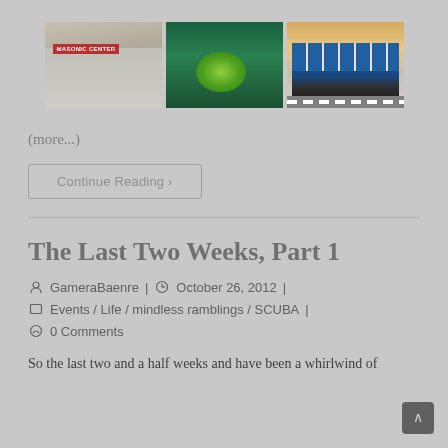[Figure (photo): Three photos side by side: a building with a Masonic Center sign and garage door, a green bush/plant from above on dark green background, and a blue cable car/tram on a street.]
(more...)
Continue Reading >
The Last Two Weeks, Part 1
GameraBaenre | October 26, 2012 |
Events / Life / mindless ramblings / SCUBA |
0 Comments
So the last two and a half weeks and have been a whirlwind of